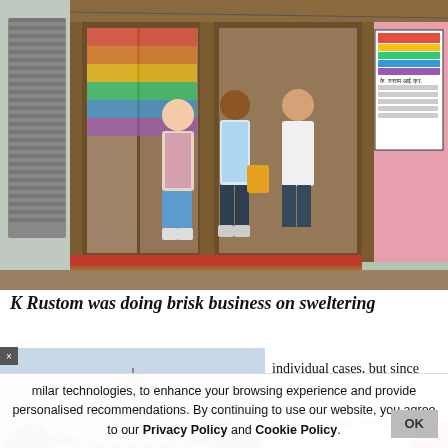[Figure (photo): Street-level photo of K Rustom shop front with colorful rainbow stripe interior, wooden sliding doors, a menu board on right, and three customers standing at the counter. Building exterior is pale green/white.]
K Rustom was doing brisk business on sweltering Monday afternoon
[Figure (photo): Photo of the Supreme Court of India building with its large central dome, red sandstone facade, and surrounding trees and greenery.]
individual cases, but since this public domain, we can
milar technologies, to enhance your browsing experience and provide personalised recommendations. By continuing to use our website, you agree to our Privacy Policy and Cookie Policy.